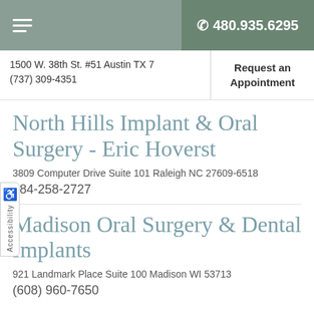480.935.6295
1500 W. 38th St. #51 Austin TX 7
(737) 309-4351
Request an Appointment
North Hills Implant & Oral Surgery - Eric Hoverst
3809 Computer Drive Suite 101 Raleigh NC 27609-6518
984-258-2727
Madison Oral Surgery & Dental Implants
921 Landmark Place Suite 100 Madison WI 53713
(608) 960-7650